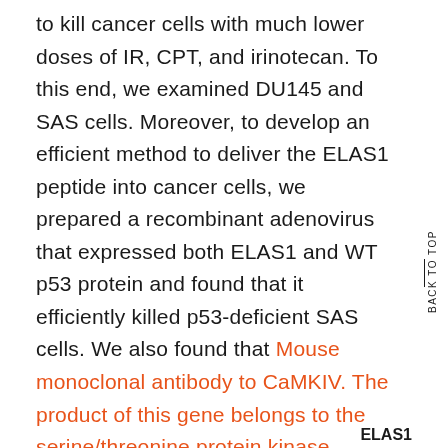to kill cancer cells with much lower doses of IR, CPT, and irinotecan. To this end, we examined DU145 and SAS cells. Moreover, to develop an efficient method to deliver the ELAS1 peptide into cancer cells, we prepared a recombinant adenovirus that expressed both ELAS1 and WT p53 protein and found that it efficiently killed p53-deficient SAS cells. We also found that Mouse monoclonal antibody to CaMKIV. The product of this gene belongs to the serine/threonine protein kinase family, and to the Ca(2+)/calmodulin-dependent protein kinase subfamily. This enzyme is a multifunctionalserine/threonine protein kinase with limited tissue distribution, that has been implicated intranscriptional regulation in lymphocytes, neurons and male germ cells
ELAS1